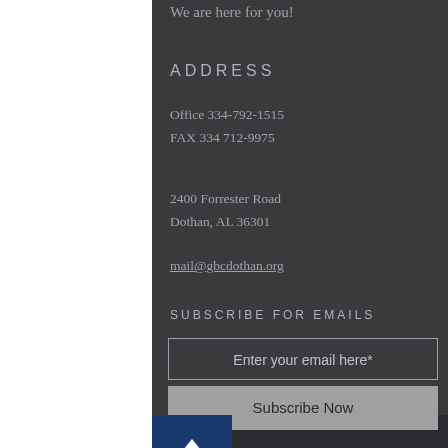We are here for you!
ADDRESS
Office 334-792-1515
FAX  334 712-9975
2400 Forrester Road
Dothan, AL 36301
mail@gbcdothan.org
SUBSCRIBE FOR EMAILS
Enter your email here*
Subscribe Now